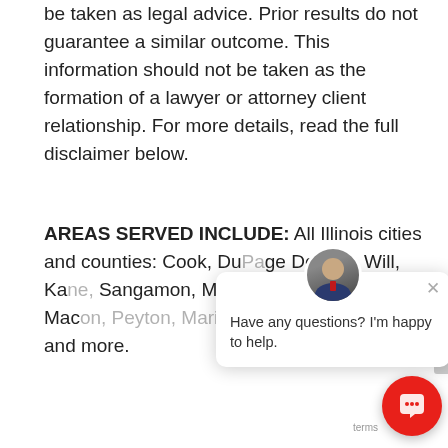be taken as legal advice. Prior results do not guarantee a similar outcome. This information should not be taken as the formation of a lawyer or attorney client relationship. For more details, read the full disclaimer below.
AREAS SERVED INCLUDE: All Illinois cities and counties: Cook, DuPage, DeKalb, Will, Kane, Sangamon, Madison, Champaign, Macon, Peyton, Marion and more.
[Figure (screenshot): Chat popup overlay with avatar photo of a man in suit, close X button, and message 'Have any questions? I'm happy to help.']
[Figure (illustration): Red circular chat button in bottom right corner]
terms